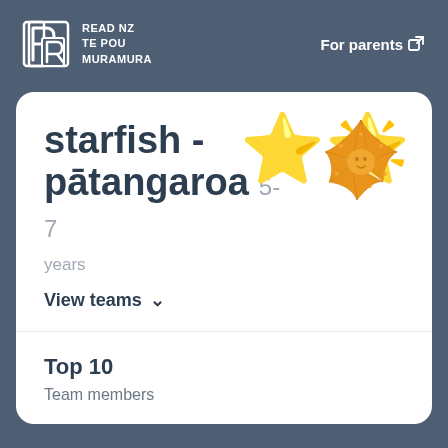READ NZ TE POU MURAMURA
For parents
starfish - pātangaroa 5-7
years
View teams
Top 10
Team members